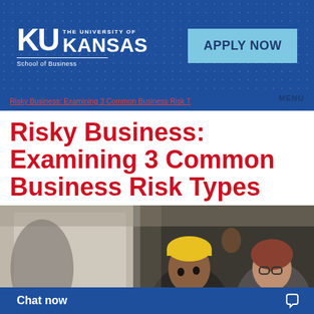[Figure (logo): University of Kansas School of Business logo with KU letters and APPLY NOW button on blue banner]
Risky Business: Examining 3 Common Business Risk T
Risky Business: Examining 3 Common Business Risk Types
13 Dec
[Figure (photo): Two people in an office or workspace setting; one with yellow beanie hat and another with glasses and red hair]
Chat now